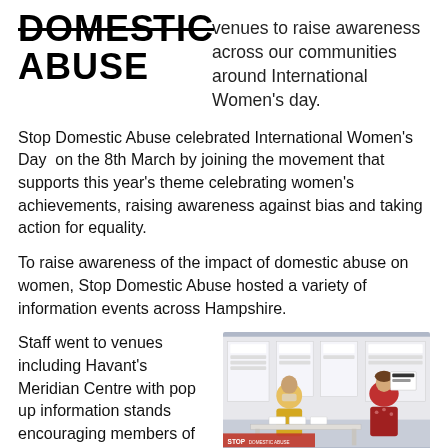[Figure (logo): Stop Domestic Abuse logo with large bold uppercase text 'DOMESTIC ABUSE' where 'DOMESTIC' has a strikethrough]
venues to raise awareness across our communities around International Women's day.
Stop Domestic Abuse celebrated International Women's Day on the 8th March by joining the movement that supports this year's theme celebrating women's achievements, raising awareness against bias and taking action for equality.
To raise awareness of the impact of domestic abuse on women, Stop Domestic Abuse hosted a variety of information events across Hampshire.
Staff went to venues including Havant's Meridian Centre with pop up information stands encouraging members of the
[Figure (photo): Two people standing at an information stand with display boards and leaflets, one wearing a yellow jacket, one in red patterned top]